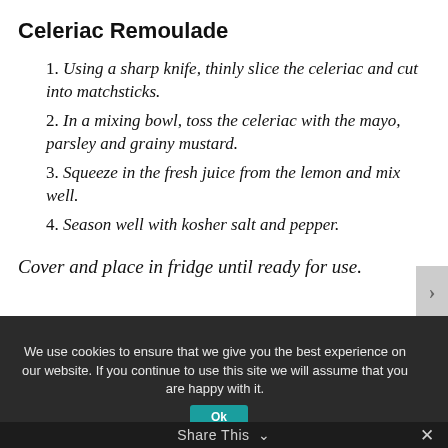Celeriac Remoulade
1. Using a sharp knife, thinly slice the celeriac and cut into matchsticks.
2. In a mixing bowl, toss the celeriac with the mayo, parsley and grainy mustard.
3. Squeeze in the fresh juice from the lemon and mix well.
4. Season well with kosher salt and pepper.
Cover and place in fridge until ready for use.
We use cookies to ensure that we give you the best experience on our website. If you continue to use this site we will assume that you are happy with it.
Share This